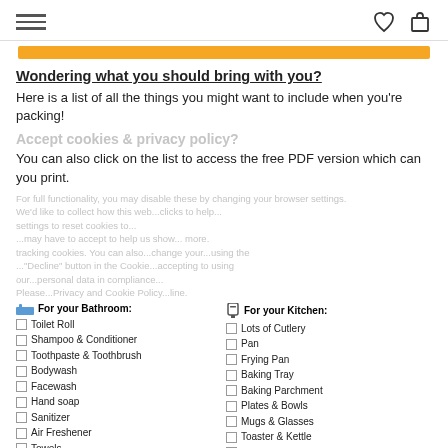Navigation header with hamburger menu and icons
Wondering what you should bring with you?
Here is a list of all the things you might want to include when you're packing!
You can also click on the list to access the free PDF version which can you print.
[Figure (other): Packing checklist with two columns: Bathroom and Kitchen items on the left, Bedroom and Laundry on the right. Partially overlaid with a cookie consent popup.]